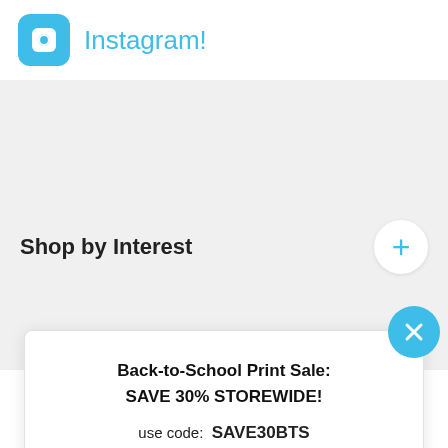[Figure (logo): Instagram camera icon (blue rounded square with camera icon) followed by 'Instagram!' text in blue]
Shop by Interest
[Figure (infographic): Back-to-School Print Sale popup card with close button (blue circle with X). Card contains: 'Back-to-School Print Sale: SAVE 30% STOREWIDE!' headline, 'use code: SAVE30BTS' promo code, and a blue 'SAVE 30% NOW' button.]
Back-to-School Print Sale: SAVE 30% STOREWIDE!
use code: SAVE30BTS
SAVE 30% NOW